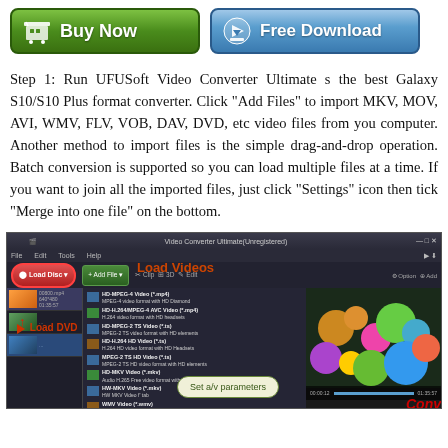[Figure (screenshot): Two buttons: green 'Buy Now' and blue 'Free Download']
Step 1: Run UFUSoft Video Converter Ultimate s the best Galaxy S10/S10 Plus format converter. Click "Add Files" to import MKV, MOV, AVI, WMV, FLV, VOB, DAV, DVD, etc video files from you computer. Another method to import files is the simple drag-and-drop operation. Batch conversion is supported so you can load multiple files at a time. If you want to join all the imported files, just click "Settings" icon then tick "Merge into one file" on the bottom.
[Figure (screenshot): Screenshot of Video Converter Ultimate software showing Load Videos, Load DVD, and Set a/v parameters callouts with a Convert button visible]